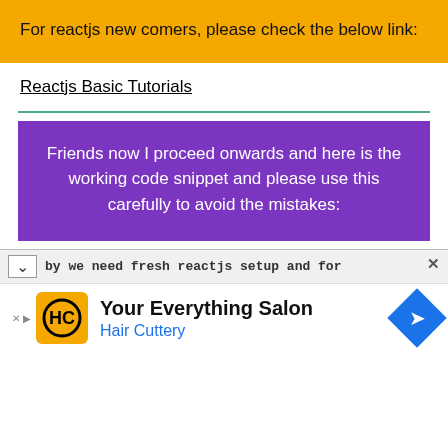For reactjs new comers, please check the below link:
Reactjs Basic Tutorials
Friends now I proceed onwards and here is the working code snippet and please use this carefully to avoid the mistakes:
by we need fresh reactjs setup and for that we need
[Figure (other): Advertisement for Your Everything Salon - Hair Cuttery with logo and navigation arrow icon]